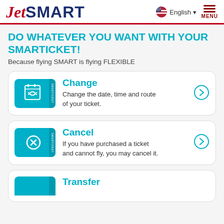JetSMART — English MENU
DO WHATEVER YOU WANT WITH YOUR SMARTICKET!
Because flying SMART is flying FLEXIBLE
Change
Change the date, time and route of your ticket.
Cancel
If you have purchased a ticket and cannot fly, you may cancel it.
Transfer